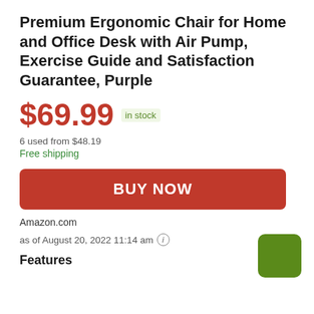Premium Ergonomic Chair for Home and Office Desk with Air Pump, Exercise Guide and Satisfaction Guarantee, Purple
$69.99 in stock
6 used from $48.19
Free shipping
BUY NOW
Amazon.com
as of August 20, 2022 11:14 am
[Figure (other): Green square decorative element in bottom right area]
Features